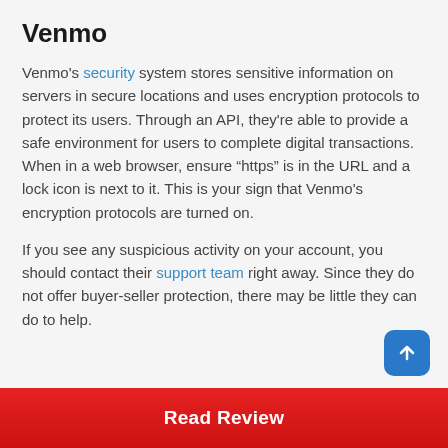Venmo
Venmo's security system stores sensitive information on servers in secure locations and uses encryption protocols to protect its users. Through an API, they're able to provide a safe environment for users to complete digital transactions. When in a web browser, ensure “https” is in the URL and a lock icon is next to it. This is your sign that Venmo's encryption protocols are turned on.
If you see any suspicious activity on your account, you should contact their support team right away. Since they do not offer buyer-seller protection, there may be little they can do to help.
Read Review